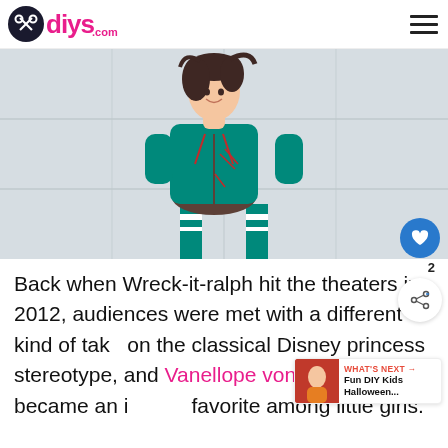diys.com
[Figure (photo): Person wearing a Vanellope von Schweetz costume: teal/turquoise hoodie, dark brown skirt, and teal striped knee-high socks, standing in front of a white garage door.]
Back when Wreck-it-ralph hit the theaters in 2012, audiences were met with a different kind of take on the classical Disney princess stereotype, and Vanellope von Schweetz became an instant favorite among little girls.